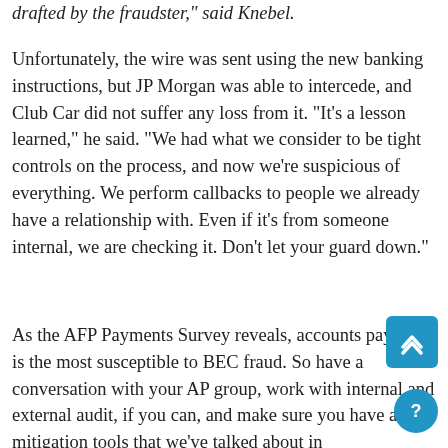drafted by the fraudster," said Knebel.
Unfortunately, the wire was sent using the new banking instructions, but JP Morgan was able to intercede, and Club Car did not suffer any loss from it. “It’s a lesson learned,” he said. “We had what we consider to be tight controls on the process, and now we’re suspicious of everything. We perform callbacks to people we already have a relationship with. Even if it’s from someone internal, we are checking it. Don’t let your guard down.”
As the AFP Payments Survey reveals, accounts payable is the most susceptible to BEC fraud. So have a conversation with your AP group, work with internal and external audit, if you can, and make sure you have all the mitigation tools that we’ve talked about in